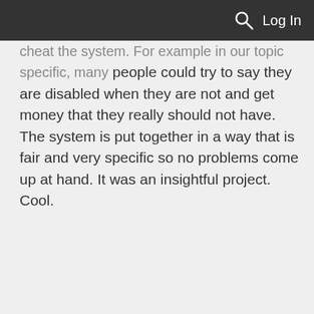Log In
cheat the system. For example in our topic specific, many people could try to say they are disabled when they are not and get money that they really should not have. The system is put together in a way that is fair and very specific so no problems come up at hand. It was an insightful project. Cool.